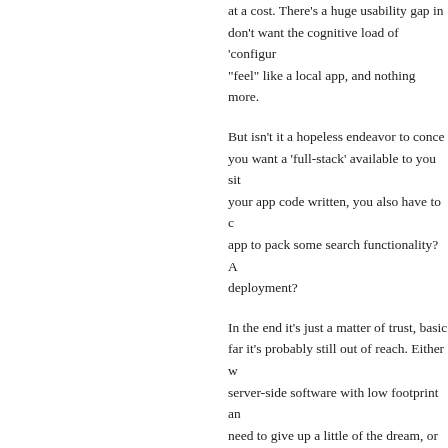at a cost. There's a huge usability gap in... don't want the cognitive load of 'configur... "feel" like a local app, and nothing more.
But isn't it a hopeless endeavor to conce... you want a 'full-stack' available to you sit... your app code written, you also have to c... app to pack some search functionality? A... deployment?
In the end it's just a matter of trust, basic... far it's probably still out of reach. Either w... server-side software with low footprint an... need to give up a little of the dream, or w...
There's another way at the solution – we... Something that would really be a server... play for someone like Heroku; to be that... there's an undeniable progression towar... investment, it's a good problem to work o...
What's the best place to discuss self-hos...